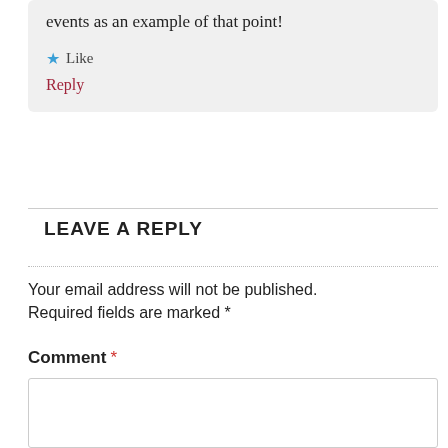events as an example of that point!
★ Like
Reply
LEAVE A REPLY
Your email address will not be published. Required fields are marked *
Comment *